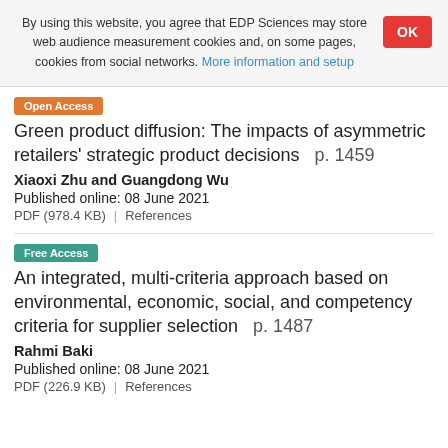By using this website, you agree that EDP Sciences may store web audience measurement cookies and, on some pages, cookies from social networks. More information and setup
Open Access
Green product diffusion: The impacts of asymmetric retailers' strategic product decisions   p. 1459
Xiaoxi Zhu and Guangdong Wu
Published online: 08 June 2021
PDF (978.4 KB)   References
Free Access
An integrated, multi-criteria approach based on environmental, economic, social, and competency criteria for supplier selection   p. 1487
Rahmi Baki
Published online: 08 June 2021
PDF (226.9 KB)   References